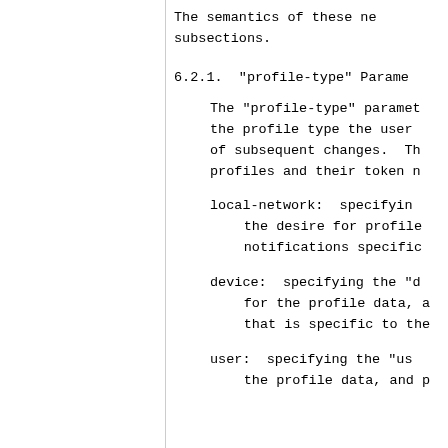The semantics of these new parameters are described in the following subsections.
6.2.1.  "profile-type" Parameter
The "profile-type" parameter is used in the subscription to indicate the profile type the user wishes to be notified of subsequent changes. The following are the established profiles and their token names:
local-network:  specifying the "local-network" profile type, indicating the desire for profile data, and to receive change notifications specific to ...
device:  specifying the "device" profile type, indicating the desire for the profile data, and to receive change notifications that is specific to the ...
user:  specifying the "user" profile type, indicating the desire for the profile data, and p...